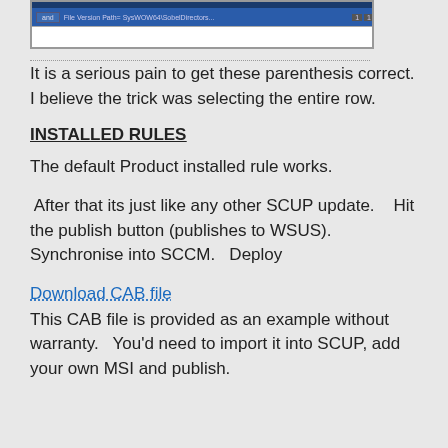[Figure (screenshot): A cropped screenshot showing a Windows dialog or file listing with a dark blue header bar and white content area. Text partially visible: 'File Version Path= SysWOW64\SobelDirectors...']
It is a serious pain to get these parenthesis correct.   I believe the trick was selecting the entire row.
INSTALLED RULES
The default Product installed rule works.
After that its just like any other SCUP update.    Hit the publish button (publishes to WSUS).   Synchronise into SCCM.   Deploy
Download CAB file
This CAB file is provided as an example without warranty.   You'd need to import it into SCUP, add your own MSI and publish.